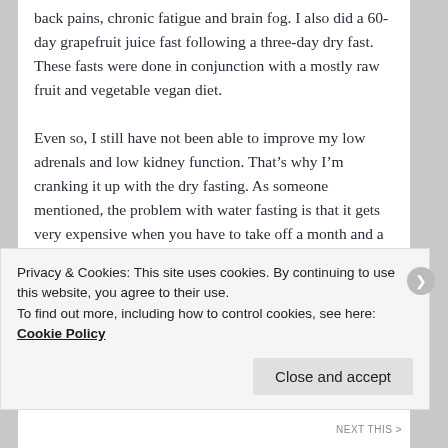back pains, chronic fatigue and brain fog. I also did a 60-day grapefruit juice fast following a three-day dry fast. These fasts were done in conjunction with a mostly raw fruit and vegetable vegan diet.
Even so, I still have not been able to improve my low adrenals and low kidney function. That's why I'm cranking it up with the dry fasting. As someone mentioned, the problem with water fasting is that it gets very expensive when you have to take off a month and a half to two months to fast and recover. I had to pay to stay somewhere so that someone knowledgeable was around just in case, plus the loss of income during that time when not
Privacy & Cookies: This site uses cookies. By continuing to use this website, you agree to their use.
To find out more, including how to control cookies, see here: Cookie Policy